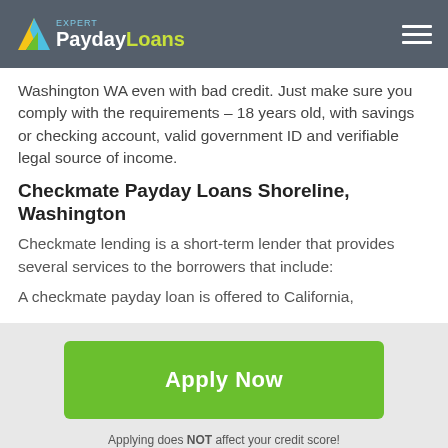Expert PaydayLoans
Washington WA even with bad credit. Just make sure you comply with the requirements – 18 years old, with savings or checking account, valid government ID and verifiable legal source of income.
Checkmate Payday Loans Shoreline, Washington
Checkmate lending is a short-term lender that provides several services to the borrowers that include:
A checkmate payday loan is offered to California,
[Figure (other): Green Apply Now button]
Applying does NOT affect your credit score!
No credit check to apply.